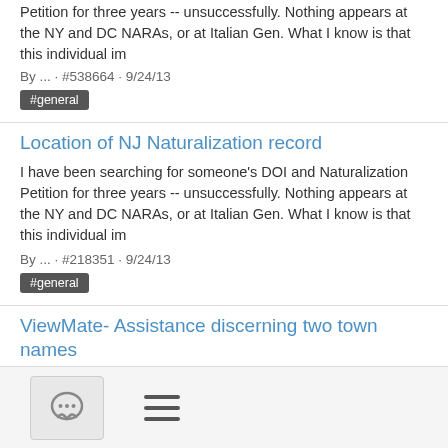Petition for three years -- unsuccessfully. Nothing appears at the NY and DC NARAs, or at Italian Gen. What I know is that this individual im
By ... · #538664 · 9/24/13
#general
Location of NJ Naturalization record
I have been searching for someone's DOI and Naturalization Petition for three years -- unsuccessfully. Nothing appears at the NY and DC NARAs, or at Italian Gen. What I know is that this individual im
By ... · #218351 · 9/24/13
#general
ViewMate- Assistance discerning two town names
Please thank those who help you and support GerSIG, ViewMate and JewishGen http://www.jewishgen.org/JewishGen-erosity/honors0.html http://www.jewishgen.org/JewishGen-erosity/honors.asp ~~~~~~~~~~~~~~~
By ... · #49279 · 6/25/13